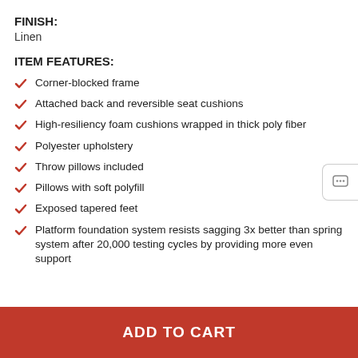FINISH:
Linen
ITEM FEATURES:
Corner-blocked frame
Attached back and reversible seat cushions
High-resiliency foam cushions wrapped in thick poly fiber
Polyester upholstery
Throw pillows included
Pillows with soft polyfill
Exposed tapered feet
Platform foundation system resists sagging 3x better than spring system after 20,000 testing cycles by providing more even support
ADD TO CART